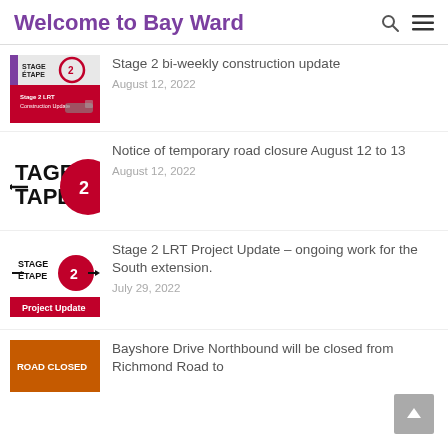Welcome to Bay Ward
Stage 2 bi-weekly construction update
August 12, 2022
Notice of temporary road closure August 12 to 13
August 12, 2022
Stage 2 LRT Project Update – ongoing work for the South extension.
July 29, 2022
Bayshore Drive Northbound will be closed from Richmond Road to
[Figure (screenshot): Stage 2 LRT Construction Update thumbnail with red train and Stage 2 logo]
[Figure (logo): Stage 2 Etape 2 logo with large red circle]
[Figure (screenshot): Stage 2 Etape 2 Project Update logo]
[Figure (photo): Road Closed sign in orange background]